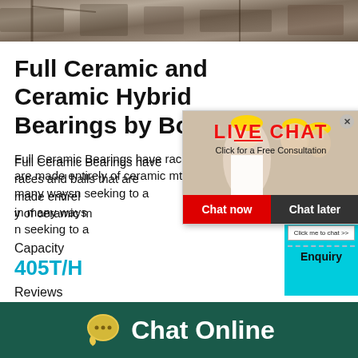[Figure (photo): Industrial/demolition site photo at the top of the page]
Full Ceramic and Ceramic Hybrid Bearings by Boca
Full Ceramic Bearings have races and balls that are made entirely of ceramic material and outperform steel bearings in many ways. They are ideal for engineers seeking to achieve the best state for you!
Capacity
405T/H
Reviews
[Figure (screenshot): Live Chat popup overlay with 'LIVE CHAT' heading in red, 'Click for a Free Consultation' subtitle, image of workers in hard hats, 'Chat now' red button and 'Chat later' dark button]
[Figure (infographic): Customer satisfaction gauge widget on the right side with smiley faces, gauge meter, and 'Click me to chat >>' button, plus 'Enquiry' section below dashed line]
[Figure (infographic): Bottom bar with chat bubble icon and 'Chat Online' text on dark green background]